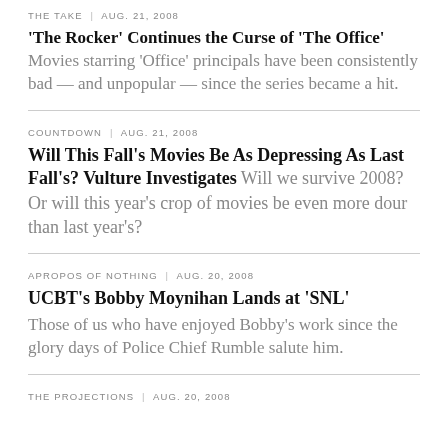THE TAKE | AUG. 21, 2008
'The Rocker' Continues the Curse of 'The Office' Movies starring 'Office' principals have been consistently bad — and unpopular — since the series became a hit.
COUNTDOWN | AUG. 21, 2008
Will This Fall's Movies Be As Depressing As Last Fall's? Vulture Investigates Will we survive 2008? Or will this year's crop of movies be even more dour than last year's?
APROPOS OF NOTHING | AUG. 20, 2008
UCBT's Bobby Moynihan Lands at 'SNL'
Those of us who have enjoyed Bobby's work since the glory days of Police Chief Rumble salute him.
THE PROJECTIONS | AUG. 20, 2008